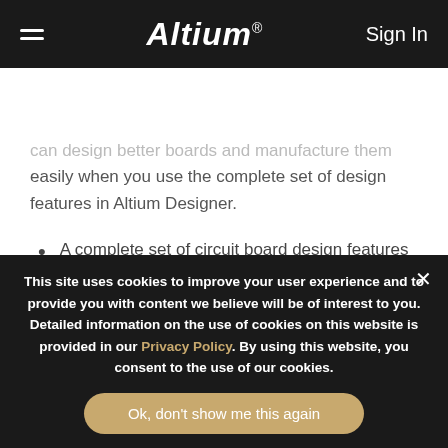Altium | Sign In
Schematic Capture
can design better boards and manufacture them easily when you use the complete set of design features in Altium Designer.
A complete set of circuit board design features should be available in a single program. The design features in Altium Designer let you create advanced PCBs and prepare them for
This site uses cookies to improve your user experience and to provide you with content we believe will be of interest to you. Detailed information on the use of cookies on this website is provided in our Privacy Policy. By using this website, you consent to the use of our cookies.
Ok, don't show me this again